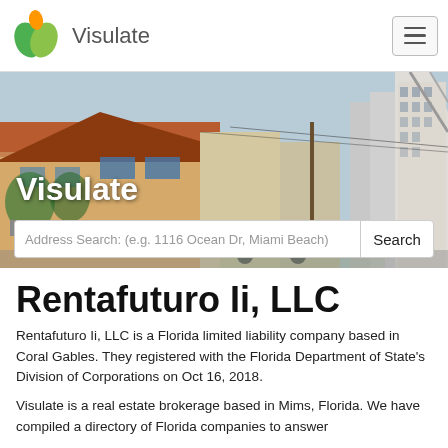Visulate
[Figure (photo): Hero image of a building exterior with a search bar overlay showing 'Visulate' text and an address search field]
Rentafuturo Ii, LLC
Rentafuturo Ii, LLC is a Florida limited liability company based in Coral Gables. They registered with the Florida Department of State's Division of Corporations on Oct 16, 2018.
Visulate is a real estate brokerage based in Mims, Florida. We have compiled a directory of Florida companies to answer